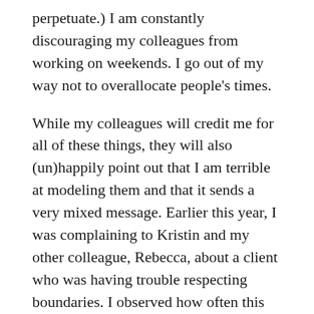perpetuate.) I am constantly discouraging my colleagues from working on weekends. I go out of my way not to overallocate people's times.
While my colleagues will credit me for all of these things, they will also (un)happily point out that I am terrible at modeling them and that it sends a very mixed message. Earlier this year, I was complaining to Kristin and my other colleague, Rebecca, about a client who was having trouble respecting boundaries. I observed how often this client emailed or called “after hours,” then admitted that it was more the symbolism than the logistics of this that bothered me, because in reality, I kept similar hours.